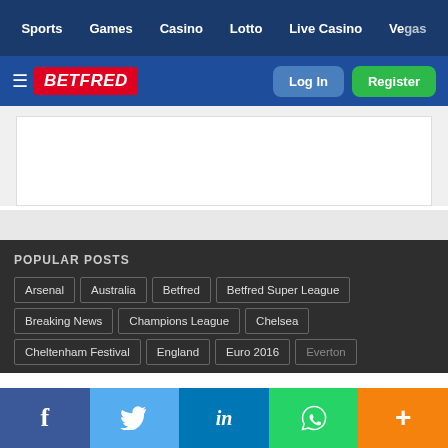Sports  Games  Casino  Lotto  Live Casino  Vegas
[Figure (logo): Betfred logo with hamburger menu, Log In button, Register button on blue header bar]
[Figure (other): White banner placeholder box on light grey background]
POPULAR POSTS
Arsenal
Australia
Betfred
Betfred Super League
Breaking News
Champions League
Chelsea
Cheltenham Festival
England
Euro 2016
Everton
Facebook  Twitter  LinkedIn  WhatsApp  More